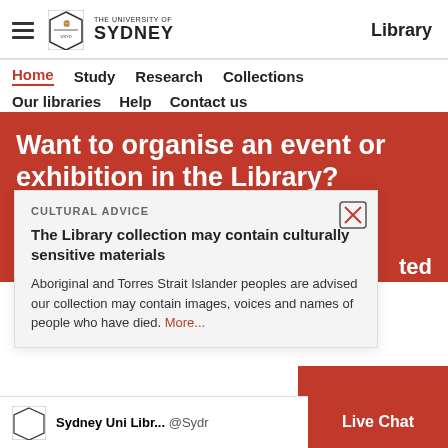The University of Sydney — Library
Home  Study  Research  Collections  Our libraries  Help  Contact us
Want to organise an event or exhibition in the Library?
CULTURAL ADVICE
The Library collection may contain culturally sensitive materials
Aboriginal and Torres Strait Islander peoples are advised our collection may contain images, voices and names of people who have died. More...
Sydney Uni Libr... @Sydr
Follow
Live Chat